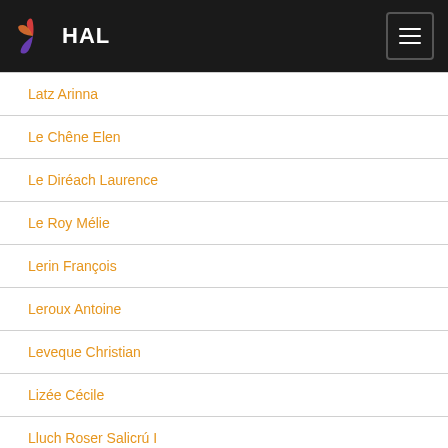HAL
Latz Arinna
Le Chêne Elen
Le Diréach Laurence
Le Roy Mélie
Lerin François
Leroux Antoine
Leveque Christian
Lizée Cécile
Lluch Roser Salicrú I
Luisita Maria